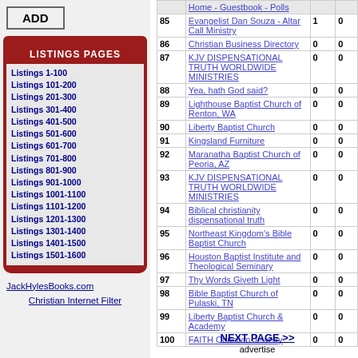ADD
LISTINGS PAGES
Listings 1-100
Listings 101-200
Listings 201-300
Listings 301-400
Listings 401-500
Listings 501-600
Listings 601-700
Listings 701-800
Listings 801-900
Listings 901-1000
Listings 1001-1100
Listings 1101-1200
Listings 1201-1300
Listings 1301-1400
Listings 1401-1500
Listings 1501-1600
JackHylesBooks.com
Christian Internet Filter
| # | Name | Col1 | Col2 |
| --- | --- | --- | --- |
|  | Home - Guestbook - Polls |  |  |
| 85 | Evangelist Dan Souza - Altar Call Ministry | 1 | 0 |
| 86 | Christian Business Directory | 0 | 0 |
| 87 | KJV DISPENSATIONAL TRUTH WORLDWIDE MINISTRIES | 0 | 0 |
| 88 | Yea, hath God said? | 0 | 0 |
| 89 | Lighthouse Baptist Church of Renton, WA | 0 | 0 |
| 90 | Liberty Baptist Church | 0 | 0 |
| 91 | Kingsland Furniture | 0 | 0 |
| 92 | Maranatha Baptist Church of Peoria, AZ | 0 | 0 |
| 93 | KJV DISPENSATIONAL TRUTH WORLDWIDE MINISTRIES | 0 | 0 |
| 94 | Biblical christianity dispensational truth | 0 | 0 |
| 95 | Northeast Kingdom's Bible Baptist Church | 0 | 0 |
| 96 | Houston Baptist Institute and Theological Seminary | 0 | 0 |
| 97 | Thy Words Giveth Light | 0 | 0 |
| 98 | Bible Baptist Church of Pulaski, TN | 0 | 0 |
| 99 | Liberty Baptist Church & Academy | 0 | 0 |
| 100 | FAITH Christian Jewelry | 0 | 0 |
NEXT PAGE >>
advertise